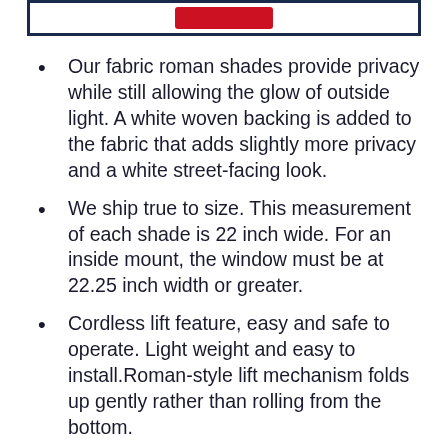[Figure (other): Partial view of a bordered box with a red button, cropped at top of page]
Our fabric roman shades provide privacy while still allowing the glow of outside light. A white woven backing is added to the fabric that adds slightly more privacy and a white street-facing look.
We ship true to size. This measurement of each shade is 22 inch wide. For an inside mount, the window must be at 22.25 inch width or greater.
Cordless lift feature, easy and safe to operate. Light weight and easy to install.Roman-style lift mechanism folds up gently rather than rolling from the bottom.